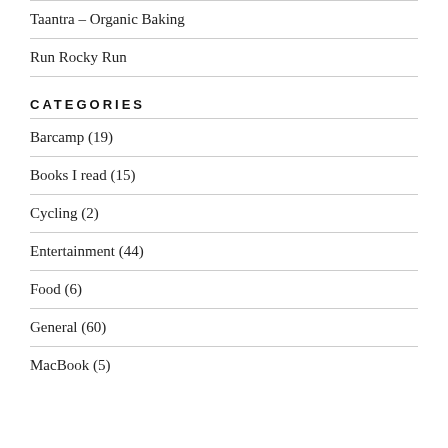Taantra – Organic Baking
Run Rocky Run
CATEGORIES
Barcamp (19)
Books I read (15)
Cycling (2)
Entertainment (44)
Food (6)
General (60)
MacBook (5)